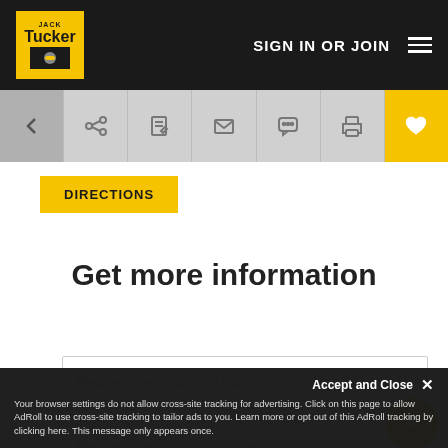SIGN IN OR JOIN
[Figure (screenshot): Toolbar with back arrow, share, edit, email, chat, print, and heart/favorite icons]
DIRECTIONS
Get more information
Please enter your First Name
Please enter your Last Name
Accept and Close ✕
Your browser settings do not allow cross-site tracking for advertising. Click on this page to allow AdRoll to use cross-site tracking to tailor ads to you. Learn more or opt out of this AdRoll tracking by clicking here. This message only appears once.